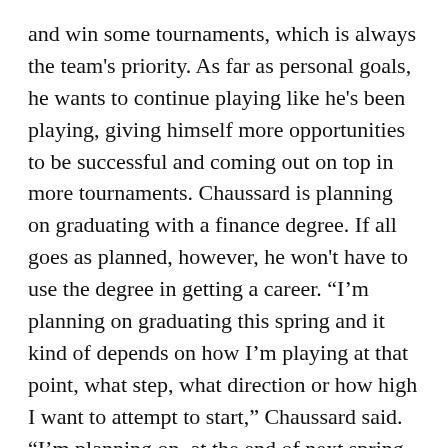and win some tournaments, which is always the team's priority. As far as personal goals, he wants to continue playing like he's been playing, giving himself more opportunities to be successful and coming out on top in more tournaments. Chaussard is planning on graduating with a finance degree. If all goes as planned, however, he won't have to use the degree in getting a career. “I’m planning on graduating this spring and it kind of depends on how I’m playing at that point, what step, what direction or how high I want to attempt to start,” Chaussard said. “I’m planning on, at the end of next spring, to turn professional.” What if the professionals don’t work out for Chaussard? He said he’s not worrying about that